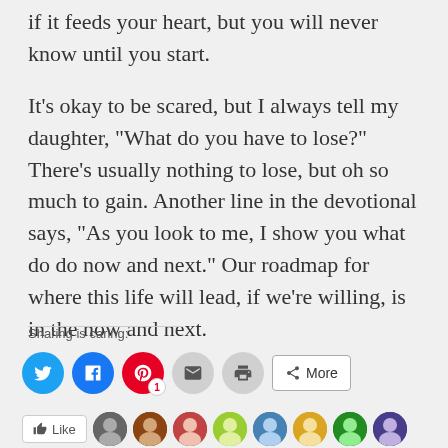if it feeds your heart, but you will never know until you start.
It’s okay to be scared, but I always tell my daughter, “What do you have to lose?” There’s usually nothing to lose, but oh so much to gain. Another line in the devotional says, “As you look to me, I show you what do do now and next.” Our roadmap for where this life will lead, if we’re willing, is in the now and next.
Sharing is caring:
[Figure (screenshot): Social sharing buttons: Twitter (cyan circle), Facebook (blue circle), Pinterest (red circle with badge '1'), Email (grey circle), Print (grey circle), More button (outlined rectangle with share icon)]
[Figure (screenshot): Like bar with Like button and several circular avatar photos of people]